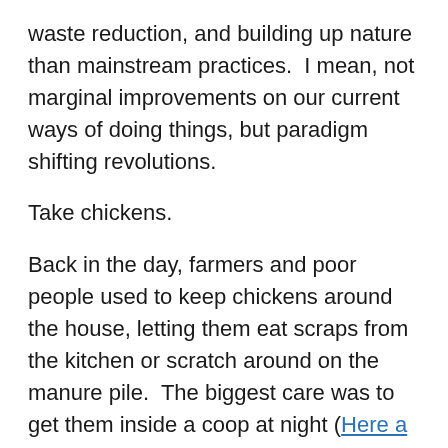waste reduction, and building up nature than mainstream practices.  I mean, not marginal improvements on our current ways of doing things, but paradigm shifting revolutions.
Take chickens.
Back in the day, farmers and poor people used to keep chickens around the house, letting them eat scraps from the kitchen or scratch around on the manure pile.  The biggest care was to get them inside a coop at night (Here a Chick).  They absolutely did not buy food for them.  Today it's the opposite.  If you're trying to get your game on for a home-flock of chickens (like me), you'll go to some workshops, read some books or websites.  Everywhere, the basic assumption is that you will buy food for your chickens. You will have coops and